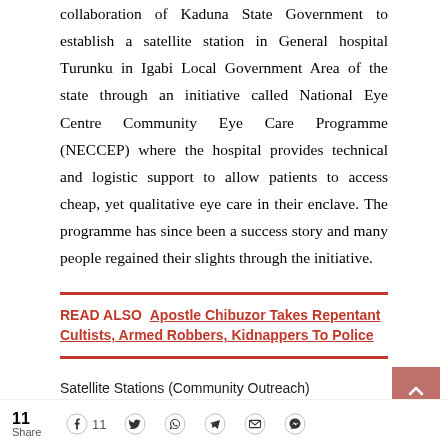collaboration of Kaduna State Government to establish a satellite station in General hospital Turunku in Igabi Local Government Area of the state through an initiative called National Eye Centre Community Eye Care Programme (NECCEP) where the hospital provides technical and logistic support to allow patients to access cheap, yet qualitative eye care in their enclave. The programme has since been a success story and many people regained their slights through the initiative.
READ ALSO  Apostle Chibuzor Takes Repentant Cultists, Armed Robbers, Kidnappers To Police
Satellite Stations (Community Outreach)
11  Share  [Facebook 11] [Twitter] [WhatsApp] [Telegram] [Email] [Messenger]